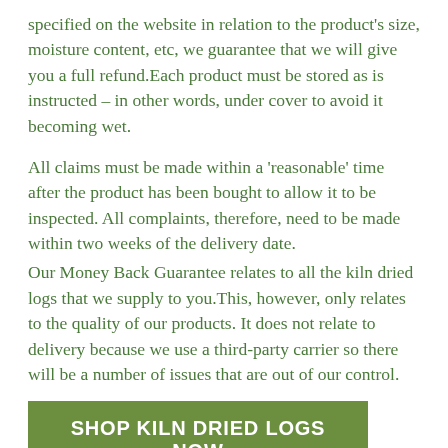specified on the website in relation to the product's size, moisture content, etc, we guarantee that we will give you a full refund.Each product must be stored as is instructed – in other words, under cover to avoid it becoming wet.
All claims must be made within a 'reasonable' time after the product has been bought to allow it to be inspected. All complaints, therefore, need to be made within two weeks of the delivery date.
Our Money Back Guarantee relates to all the kiln dried logs that we supply to you.This, however, only relates to the quality of our products. It does not relate to delivery because we use a third-party carrier so there will be a number of issues that are out of our control.
SHOP KILN DRIED LOGS NOW